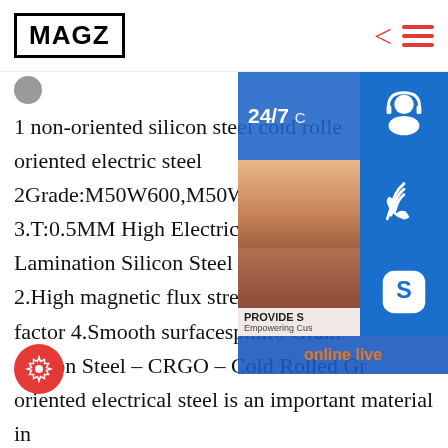MAGZ
1 non-oriented silicon steel cold rolled oriented electric steel 2Grade:M50W600,M50W800,M50W10 3.T:0.5MM High Electric Resistance S Lamination Silicon Steel Lamination 2.High magnetic flux strength 3.High factor 4.Smooth surfacesp.info Grain Silicon Steel – CRGO – Cold Rolled Gr oriented electrical steel is an important material in the production of energy efficient transformers and large high performance generators. In the form of laminated, wound or punched sheets, it is the essential core material of distribution transformers
[Figure (photo): Side panel overlay showing 24/7 customer service banner, headset icon button, photo of customer service woman with headset, phone/call icon button, Skype icon button, and online live button]